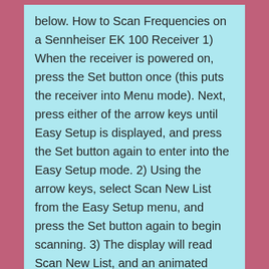below. How to Scan Frequencies on a Sennheiser EK 100 Receiver 1) When the receiver is powered on, press the Set button once (this puts the receiver into Menu mode). Next, press either of the arrow keys until Easy Setup is displayed, and press the Set button again to enter into the Easy Setup mode. 2) Using the arrow keys, select Scan New List from the Easy Setup menu, and press the Set button again to begin scanning. 3) The display will read Scan New List, and an animated progress bar will move across the screen. Gotovij rp server dlya samp 03e. After about 55 seconds, the display will inform you how many Banks and Free frequencies are available for use.